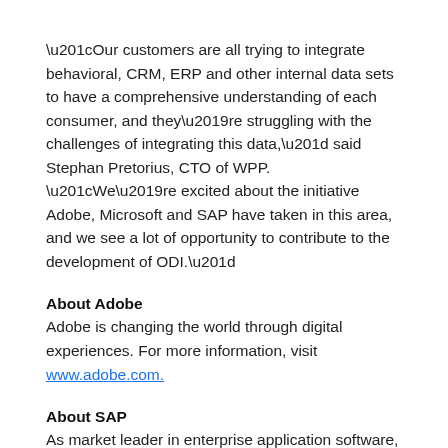“Our customers are all trying to integrate behavioral, CRM, ERP and other internal data sets to have a comprehensive understanding of each consumer, and they’re struggling with the challenges of integrating this data,” said Stephan Pretorius, CTO of WPP. “We’re excited about the initiative Adobe, Microsoft and SAP have taken in this area, and we see a lot of opportunity to contribute to the development of ODI.”
About Adobe
Adobe is changing the world through digital experiences. For more information, visit www.adobe.com.
About SAP
As market leader in enterprise application software, SAP (NYSE: SAP) helps companies of all sizes and industries run better. From back office to boardroom, warehouse to storefront, desktop to mobile device – SAP empowers people and organizations to work together more efficiently and use business insight more effectively to